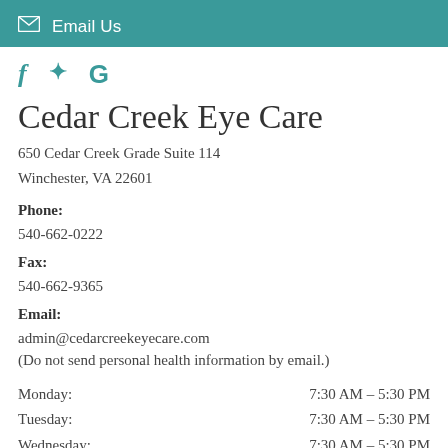Email Us
[Figure (infographic): Social media icons: Facebook (f), Yelp (asterisk/flower), Google (G) in teal color]
Cedar Creek Eye Care
650 Cedar Creek Grade Suite 114
Winchester, VA 22601
Phone:
540-662-0222
Fax:
540-662-9365
Email:
admin@cedarcreekeyecare.com
(Do not send personal health information by email.)
| Day | Hours |
| --- | --- |
| Monday: | 7:30 AM – 5:30 PM |
| Tuesday: | 7:30 AM – 5:30 PM |
| Wednesday: | 7:30 AM – 5:30 PM |